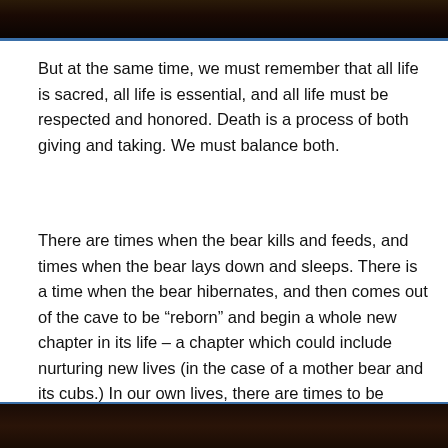[Figure (photo): Dark photograph at the top of the page, appears to show rocky or earthy terrain with dark tones, bordered by a blue line at the bottom.]
But at the same time, we must remember that all life is sacred, all life is essential, and all life must be respected and honored. Death is a process of both giving and taking. We must balance both.
There are times when the bear kills and feeds, and times when the bear lays down and sleeps. There is a time when the bear hibernates, and then comes out of the cave to be “reborn” and begin a whole new chapter in its life – a chapter which could include nurturing new lives (in the case of a mother bear and its cubs.) In our own lives, there are times to be active, and times to rest. There are times to live… times to die… and times to be reborn.
[Figure (photo): Dark photograph at the bottom of the page, appears to show a bear or animal in dark shadowed surroundings.]